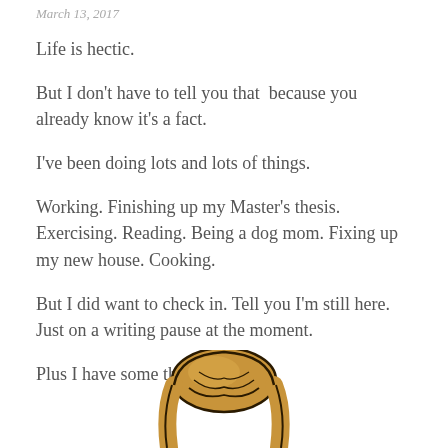March 13, 2017
Life is hectic.
But I don't have to tell you that because you already know it's a fact.
I've been doing lots and lots of things.
Working. Finishing up my Master's thesis. Exercising. Reading. Being a dog mom. Fixing up my new house. Cooking.
But I did want to check in. Tell you I'm still here. Just on a writing pause at the moment.
Plus I have some things to share.
[Figure (illustration): Cartoon illustration of a person with brown hair in a bun, viewed from above/behind, only the top of the head visible at the bottom of the page.]